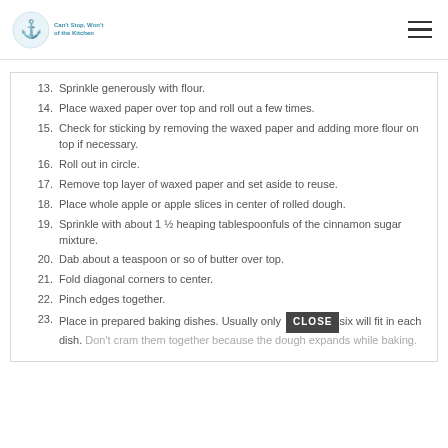Logo and navigation header
13. Sprinkle generously with flour.
14. Place waxed paper over top and roll out a few times.
15. Check for sticking by removing the waxed paper and adding more flour on top if necessary.
16. Roll out in circle.
17. Remove top layer of waxed paper and set aside to reuse.
18. Place whole apple or apple slices in center of rolled dough.
19. Sprinkle with about 1 ½ heaping tablespoonfuls of the cinnamon sugar mixture.
20. Dab about a teaspoon or so of butter over top.
21. Fold diagonal corners to center.
22. Pinch edges together.
23. Place in prepared baking dishes. Usually only six will fit in each dish. Don't cram them together because the dough expands while baking.